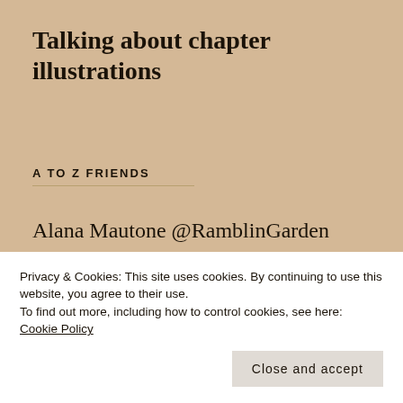Talking about chapter illustrations
A TO Z FRIENDS
Alana Mautone @RamblinGarden
Deborah @Temenos
Graffie Bl…
Privacy & Cookies: This site uses cookies. By continuing to use this website, you agree to their use.
To find out more, including how to control cookies, see here: Cookie Policy
Close and accept